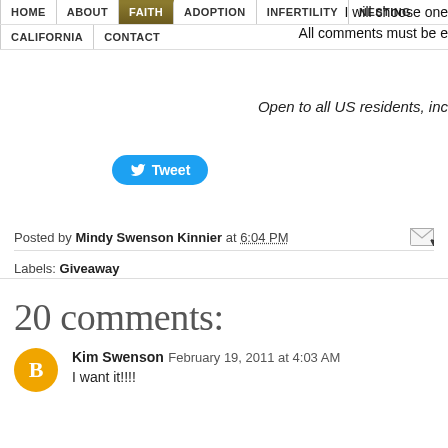HOME | ABOUT | FAITH | ADOPTION | INFERTILITY | NESTING | CALIFORNIA | CONTACT
I will choose one
All comments must be e
Open to all US residents, inc
[Figure (screenshot): Twitter Tweet button (blue rounded rectangle)]
Posted by Mindy Swenson Kinnier at 6:04 PM
Labels: Giveaway
20 comments:
Kim Swenson February 19, 2011 at 4:03 AM
I want it!!!!